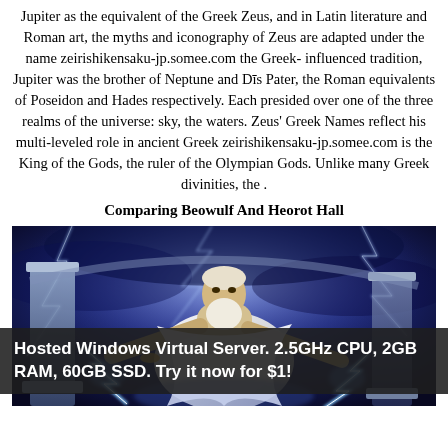Jupiter as the equivalent of the Greek Zeus, and in Latin literature and Roman art, the myths and iconography of Zeus are adapted under the name zeirishikensaku-jp.somee.com the Greek-influenced tradition, Jupiter was the brother of Neptune and Dīs Pater, the Roman equivalents of Poseidon and Hades respectively. Each presided over one of the three realms of the universe: sky, the waters. Zeus' Greek Names reflect his multi-leveled role in ancient Greek zeirishikensaku-jp.somee.com is the King of the Gods, the ruler of the Olympian Gods. Unlike many Greek divinities, the .
Comparing Beowulf And Heorot Hall
[Figure (illustration): Digital illustration of Zeus/Jupiter, an elderly muscular man with white beard wearing white robes, holding lightning bolts, standing between Greek columns with lightning in a dark blue stormy background.]
Hosted Windows Virtual Server. 2.5GHz CPU, 2GB RAM, 60GB SSD. Try it now for $1!